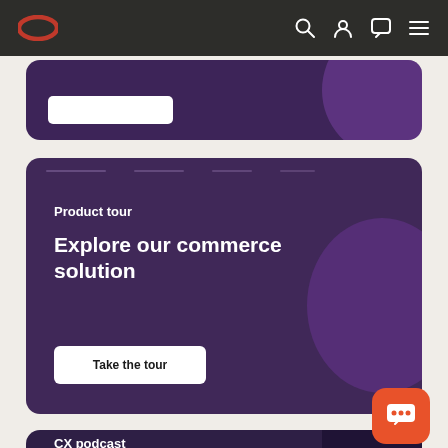Oracle navigation bar with logo and icons
[Figure (screenshot): Partial purple card with white button at top, decorative purple circle]
Product tour
Explore our commerce solution
Take the tour
CX podcast
Hear how history shapes CX